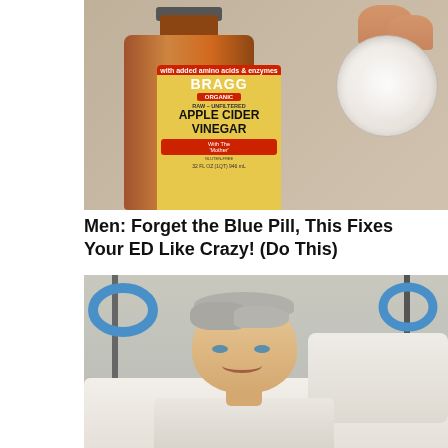[Figure (photo): Photo of a Bragg Organic Raw Unfiltered Apple Cider Vinegar bottle next to a hand holding a cotton round pad with white powder]
Men: Forget the Blue Pill, This Fixes Your ED Like Crazy! (Do This)
[Figure (photo): Photo of an older woman with short gray hair lying in a hospital bed, smiling, with blue IV poles visible on either side]